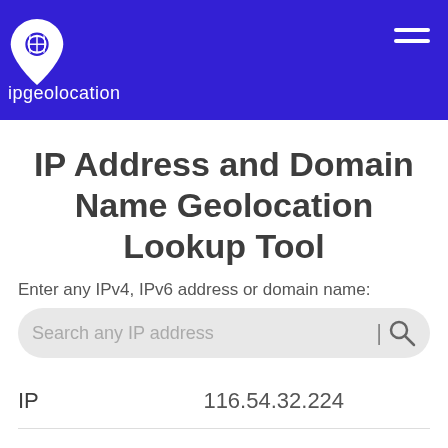ipgeolocation
IP Address and Domain Name Geolocation Lookup Tool
Enter any IPv4, IPv6 address or domain name:
Search any IP address
| Field | Value |
| --- | --- |
| IP | 116.54.32.224 |
| Hostname | 116.54.32.224 |